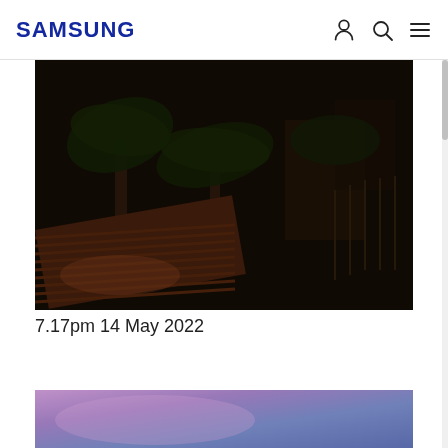SAMSUNG
[Figure (photo): Dark nighttime outdoor photo showing palm trees and tropical vegetation with a corrugated roof in the foreground, taken at 7.17pm on 14 May 2022]
7.17pm 14 May 2022
[Figure (photo): Partially visible photo showing a purple and blue gradient sky, appears to be a sunset or abstract image]